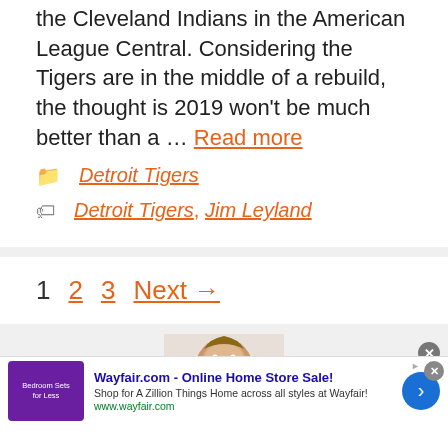the Cleveland Indians in the American League Central. Considering the Tigers are in the middle of a rebuild, the thought is 2019 won't be much better than a … Read more
Detroit Tigers
Detroit Tigers, Jim Leyland
1  2  3  Next →
[Figure (photo): Partial advertisement showing a man's smiling face, with a Wayfair.com ad banner at the bottom: 'Wayfair.com - Online Home Store Sale! Shop for A Zillion Things Home across all styles at Wayfair! www.wayfair.com']